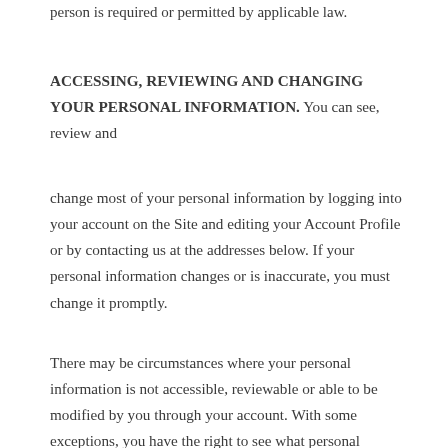person is required or permitted by applicable law.
ACCESSING, REVIEWING AND CHANGING YOUR PERSONAL INFORMATION. You can see, review and
change most of your personal information by logging into your account on the Site and editing your Account Profile or by contacting us at the addresses below. If your personal information changes or is inaccurate, you must change it promptly.
There may be circumstances where your personal information is not accessible, reviewable or able to be modified by you through your account. With some exceptions, you have the right to see what personal